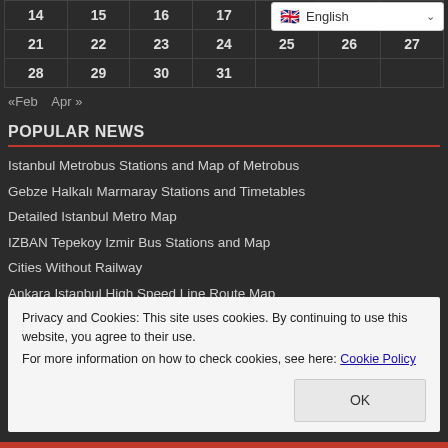| 14 | 15 | 16 | 17 |  |  |  |
| 21 | 22 | 23 | 24 | 25 | 26 | 27 |
| 28 | 29 | 30 | 31 |  |  |  |
«Feb   Apr »
POPULAR NEWS
Istanbul Metrobus Stations and Map of Metrobus
Gebze Halkalı Marmaray Stations and Timetables
Detailed Istanbul Metro Map
IZBAN Tepekoy Izmir Bus Stations and Map
Cities Without Railway
Ankara Istanbul High Speed Line Route Map
Privacy and Cookies: This site uses cookies. By continuing to use this website, you agree to their use. For more information on how to check cookies, see here: Cookie Policy